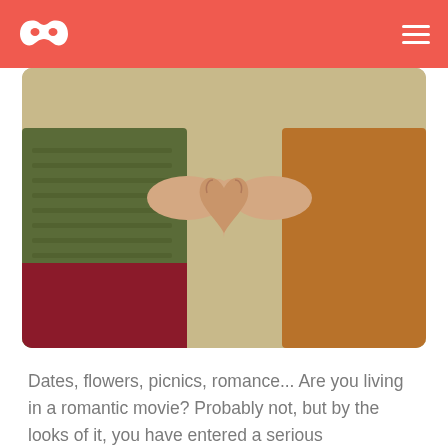[Logo: dating/masquerade mask icon] [Hamburger menu]
[Figure (photo): Two people forming a heart shape with their hands. One person is wearing a green knit sweater and red pants; the other is wearing a tan/brown top. The background is blurred outdoors.]
Dates, flowers, picnics, romance... Are you living in a romantic movie? Probably not, but by the looks of it, you have entered a serious relationship.
Whether that’s something you wanted or not is not important anymore. So, whether you want to